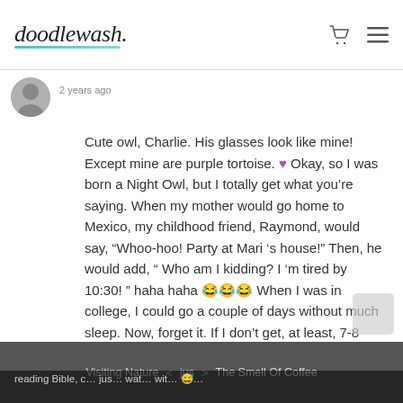doodlewash. [cart icon] [menu icon]
2 years ago
Cute owl, Charlie. His glasses look like mine! Except mine are purple tortoise. 💜 Okay, so I was born a Night Owl, but I totally get what you're saying. When my mother would go home to Mexico, my childhood friend, Raymond, would say, "Whoo-hoo! Party at Mari 's house!" Then, he would add, " Who am I kidding? I 'm tired by 10:30! " haha haha 😂😂😂 When I was in college, I could go a couple of days without much sleep. Now, forget it. If I don't get, at least, 7-8 hours of sleep, I am dragging. I still stay up super late. I enjoy being on my own. I use the computer, do some crafting, reading Bible, c…
Visiting Nature  <  jus  >  The Smell Of Coffee